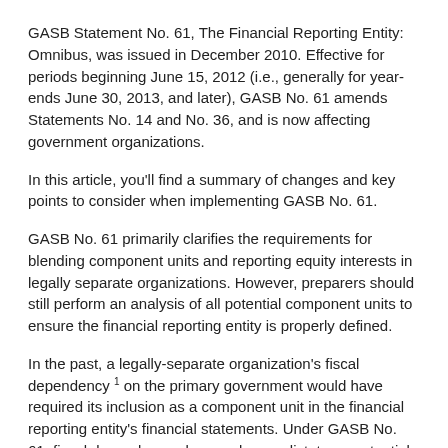GASB Statement No. 61, The Financial Reporting Entity: Omnibus, was issued in December 2010. Effective for periods beginning June 15, 2012 (i.e., generally for year-ends June 30, 2013, and later), GASB No. 61 amends Statements No. 14 and No. 36, and is now affecting government organizations.
In this article, you'll find a summary of changes and key points to consider when implementing GASB No. 61.
GASB No. 61 primarily clarifies the requirements for blending component units and reporting equity interests in legally separate organizations. However, preparers should still perform an analysis of all potential component units to ensure the financial reporting entity is properly defined.
In the past, a legally-separate organization's fiscal dependency 1 on the primary government would have required its inclusion as a component unit in the financial reporting entity's financial statements. Under GASB No. 61, fiscal dependency alone no longer dictates a potential component unit's inclusion. Instead, inclusion is now justified by the existence of a financial benefit or burden relationship between the potential component unit and the primary government.